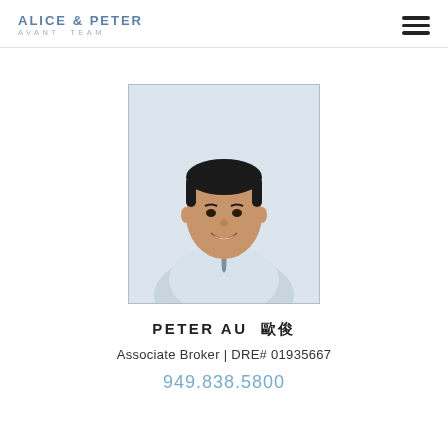ALICE & PETER AVANT TEAM
[Figure (photo): Professional headshot of Peter Au, a man in a light grey blazer and tie, smiling, dark hair, against a light background, framed with a thin border]
PETER AU  歐俊
Associate Broker | DRE# 01935667
949.838.5800